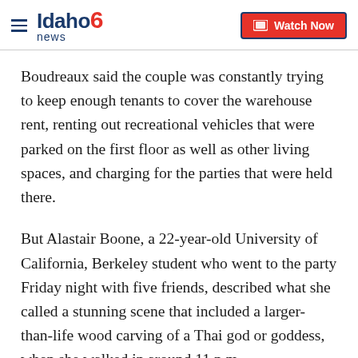Idaho news 6 | Watch Now
Boudreaux said the couple was constantly trying to keep enough tenants to cover the warehouse rent, renting out recreational vehicles that were parked on the first floor as well as other living spaces, and charging for the parties that were held there.
But Alastair Boone, a 22-year-old University of California, Berkeley student who went to the party Friday night with five friends, described what she called a stunning scene that included a larger-than-life wood carving of a Thai god or goddess, when she walked in around 11 p.m.